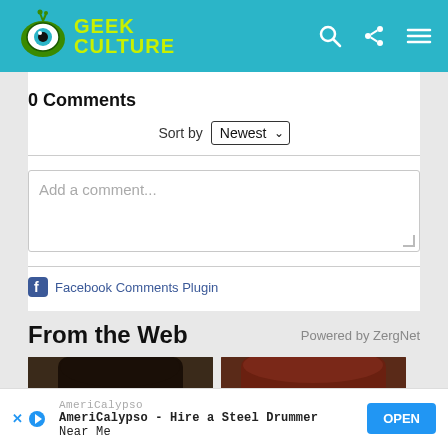[Figure (logo): Geek Culture logo - green cartoon eye with antenna and yellow-green text 'GEEK CULTURE' on teal/cyan header bar with search, share, and menu icons]
0 Comments
Sort by Newest
Add a comment...
Facebook Comments Plugin
From the Web
Powered by ZergNet
[Figure (photo): Two cropped photo thumbnails showing top portions of faces - dark hair person on left, reddish-brown hair person on right, both partially cropped]
AmeriCalypso
AmeriCalypso - Hire a Steel Drummer
Near Me